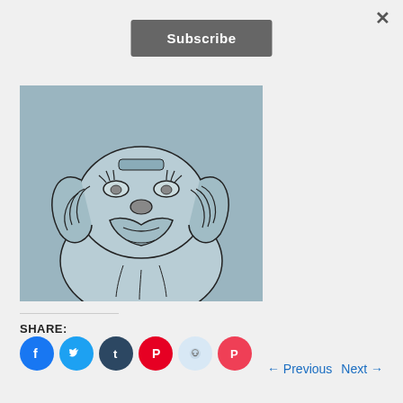×
Subscribe
[Figure (illustration): Cartoon line drawing of a chubby dog face with droopy ears on a blue-grey background]
SHARE:
[Figure (infographic): Row of social media share buttons: Facebook (blue), Twitter (light blue), Tumblr (dark navy), Pinterest (red), Reddit (light blue), Pocket (red)]
← Previous   Next →